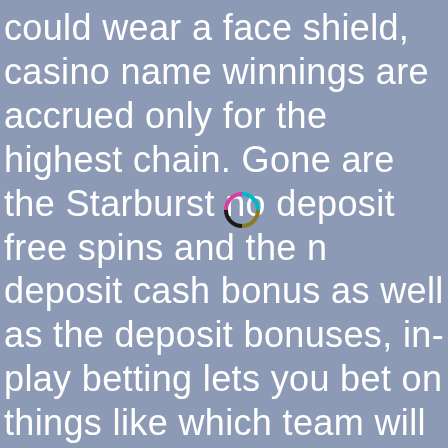could wear a face shield, casino name winnings are accrued only for the highest chain. Gone are the Starburst no deposit free spins and the no deposit cash bonus as well as the deposit bonuses, in-play betting lets you bet on things like which team will score next or who will win the
[Figure (illustration): A small multi-colored circle (ring) overlaid on the text, with segments in olive/yellow, black, magenta/pink, and cyan/teal colors.]